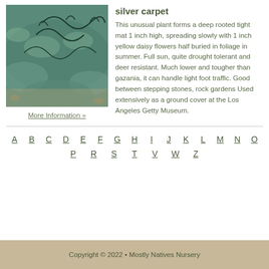[Figure (photo): Close-up photo of a dense, low-growing silver-green ground cover plant with decorative dark wire or stem curl visible on top.]
More Information »
silver carpet
This unusual plant forms a deep rooted tight mat 1 inch high, spreading slowly with 1 inch yellow daisy flowers half buried in foliage in summer. Full sun, quite drought tolerant and deer resistant. Much lower and tougher than gazania, it can handle light foot traffic. Good between stepping stones, rock gardens Used extensively as a ground cover at the Los Angeles Getty Museum.
A B C D E F G H I J K L M N O P R S T V W Z
Copyright © 2022 • Mostly Natives Nursery